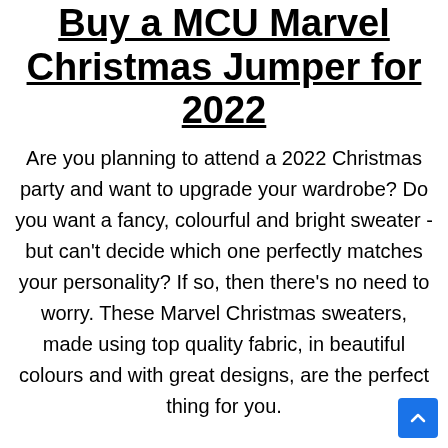Buy a MCU Marvel Christmas Jumper for 2022
Are you planning to attend a 2022 Christmas party and want to upgrade your wardrobe? Do you want a fancy, colourful and bright sweater - but can't decide which one perfectly matches your personality? If so, then there's no need to worry. These Marvel Christmas sweaters, made using top quality fabric, in beautiful colours and with great designs, are the perfect thing for you.